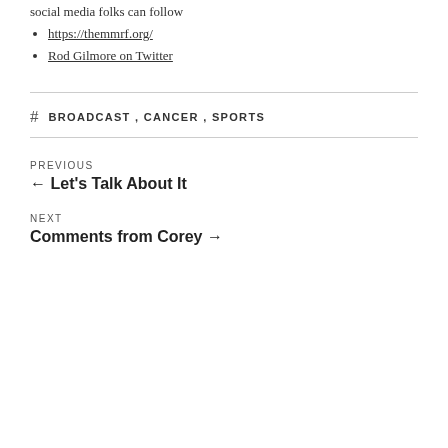social media folks can follow
https://themmrf.org/
Rod Gilmore on Twitter
# BROADCAST, CANCER, SPORTS
PREVIOUS
← Let's Talk About It
NEXT
Comments from Corey →